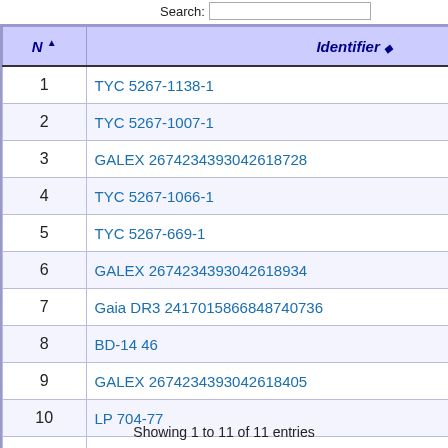| N | Identifier | di |
| --- | --- | --- |
| 1 | TYC 5267-1138-1 | 0. |
| 2 | TYC 5267-1007-1 | 16 |
| 3 | GALEX 2674234393042618728 | 17 |
| 4 | TYC 5267-1066-1 | 29 |
| 5 | TYC 5267-669-1 | 36 |
| 6 | GALEX 2674234393042618934 | 38 |
| 7 | Gaia DR3 2417015866848740736 | 49 |
| 8 | BD-14 46 | 53 |
| 9 | GALEX 2674234393042618405 | 57 |
| 10 | LP 704-77 | 59 |
| 11 | Gaia DR3 2417009750815716992 | 59 |
Showing 1 to 11 of 11 entries